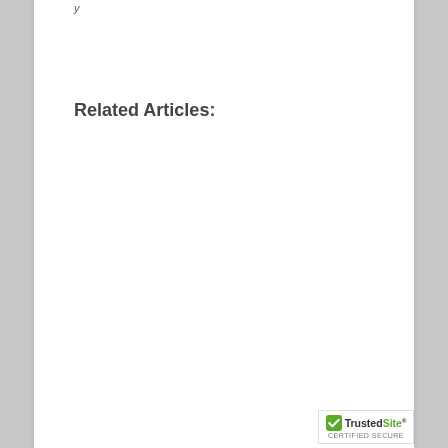Related Articles:
[Figure (logo): TrustedSite certified secure badge with green checkmark]